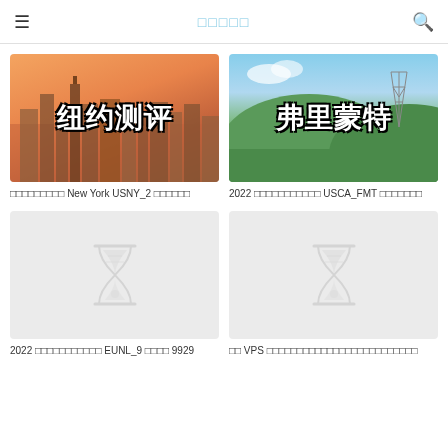□□□□□
[Figure (photo): New York city skyline at sunset with orange sky and skyscrapers, Chinese text overlay reading 纽约测评]
□□□□□□□□□ New York USNY_2 □□□□□□
[Figure (photo): Green hills landscape with blue sky and electrical tower, Chinese text overlay reading 弗里蒙特]
2022 □□□□□□□□□□□ USCA_FMT □□□□□□□
[Figure (photo): Placeholder gray image with hourglass icon]
2022 □□□□□□□□□□□ EUNL_9 □□□□ 9929
[Figure (photo): Placeholder gray image with hourglass icon]
□□ VPS □□□□□□□□□□□□□□□□□□□□□□□□□